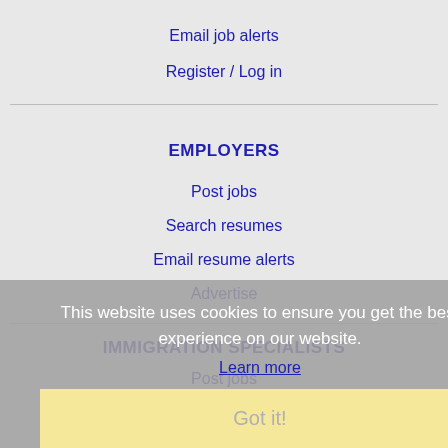Email job alerts
Register / Log in
EMPLOYERS
Post jobs
Search resumes
Email resume alerts
Advertise
IMMIGRATION SPECIALISTS
Post jobs
Immigration FAQs
Learn more
This website uses cookies to ensure you get the best experience on our website.
Learn more
Got it!